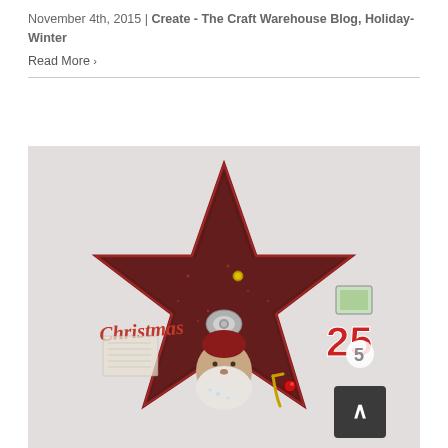November 4th, 2015 | Create - The Craft Warehouse Blog, Holiday-Winter
Read More ›
[Figure (photo): A Christmas star-shaped craft decoration with dark red/maroon glitter star shape, featuring a vintage Santa Claus face in the center, the word 'Christmas' in red script on the left, '25' in red numbers on the right, and various embellishments. A dark scroll-to-top button with an upward caret is visible in the bottom right corner.]